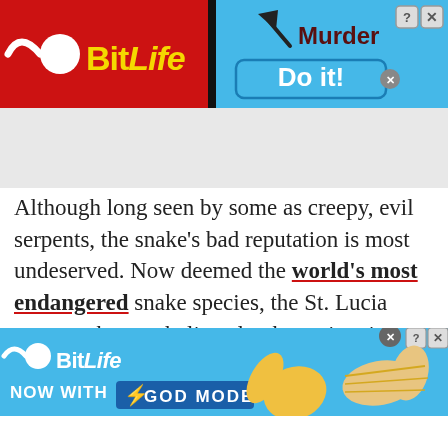[Figure (screenshot): BitLife app advertisement banner (red background, yellow BitLife logo, blue right section with 'Murder' text and 'Do it!' button)]
Although long seen by some as creepy, evil serpents, the snake's bad reputation is most undeserved. Now deemed the world's most endangered snake species, the St. Lucia racer snake was believed to be extinct in 1936 but was
[Figure (screenshot): BitLife app advertisement banner (blue background, white BitLife logo, 'NOW WITH GOD MODE' text, hand pointing finger illustration)]